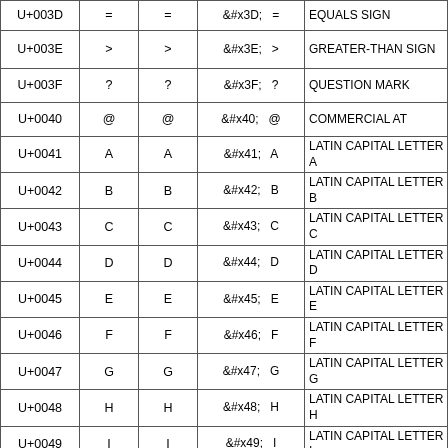| Code Point | Char | Char | HTML Entity | Name |
| --- | --- | --- | --- | --- |
| U+003D | = | = | &#x3D;   = | EQUALS SIGN |
| U+003E | > | > | &#x3E;   > | GREATER-THAN SIGN |
| U+003F | ? | ? | &#x3F;   ? | QUESTION MARK |
| U+0040 | @ | @ | &#x40;   @ | COMMERCIAL AT |
| U+0041 | A | A | &#x41;   A | LATIN CAPITAL LETTER A |
| U+0042 | B | B | &#x42;   B | LATIN CAPITAL LETTER B |
| U+0043 | C | C | &#x43;   C | LATIN CAPITAL LETTER C |
| U+0044 | D | D | &#x44;   D | LATIN CAPITAL LETTER D |
| U+0045 | E | E | &#x45;   E | LATIN CAPITAL LETTER E |
| U+0046 | F | F | &#x46;   F | LATIN CAPITAL LETTER F |
| U+0047 | G | G | &#x47;   G | LATIN CAPITAL LETTER G |
| U+0048 | H | H | &#x48;   H | LATIN CAPITAL LETTER H |
| U+0049 | I | I | &#x49;   I | LATIN CAPITAL LETTER I |